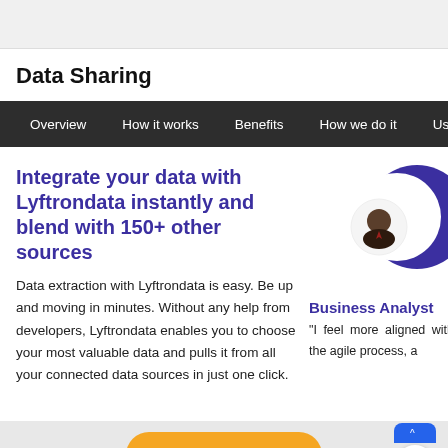Data Sharing
Overview | How it works | Benefits | How we do it | Useca...
Integrate your data with Lyftrondata instantly and blend with 150+ other sources
Data extraction with Lyftrondata is easy. Be up and moving in minutes. Without any help from developers, Lyftrondata enables you to choose your most valuable data and pulls it from all your connected data sources in just one click.
[Figure (illustration): Purple donut/circle graphic with a small circular profile photo of a person in the center]
Business Analyst
"I feel more aligned with the agile process, a...
Request Demo